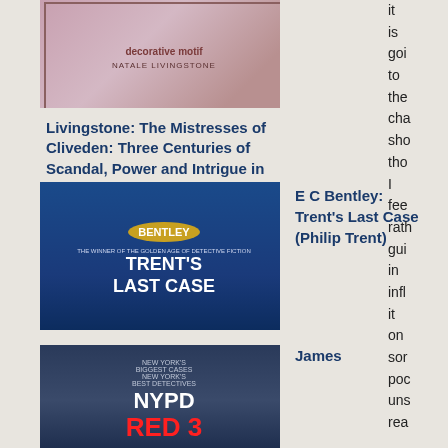[Figure (photo): Book cover: Mistresses of Cliveden by Natale Livingstone, decorative floral/mechanical design]
Livingstone: The Mistresses of Cliveden: Three Centuries of Scandal, Power and Intrigue in an English Stately Home
it is goi to the cha sho tho I fee rath gui in infl it on sor poc uns rea
[Figure (photo): Book cover: Trent's Last Case by E C Bentley, blue cover with portrait]
E C Bentley: Trent's Last Case (Philip Trent)
James
[Figure (photo): Book cover: NYPD Red 3, city bridge and police car]
And in the